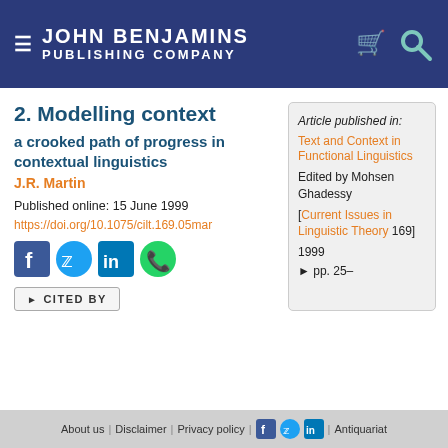JOHN BENJAMINS PUBLISHING COMPANY
2. Modelling context
a crooked path of progress in contextual linguistics
J.R. Martin
Published online: 15 June 1999
https://doi.org/10.1075/cilt.169.05mar
Article published in: Text and Context in Functional Linguistics Edited by Mohsen Ghadessy [Current Issues in Linguistic Theory 169] 1999 ► pp. 25–
► CITED BY
About us | Disclaimer | Privacy policy | Antiquariat